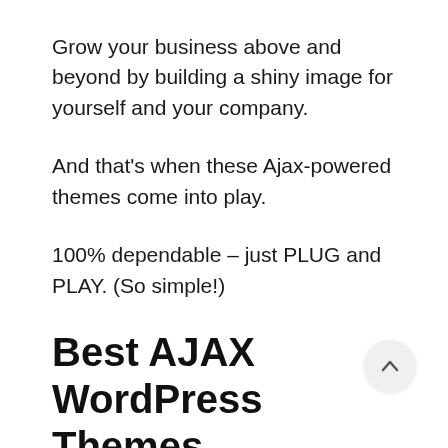Grow your business above and beyond by building a shiny image for yourself and your company.
And that’s when these Ajax-powered themes come into play.
100% dependable – just PLUG and PLAY. (So simple!)
Best AJAX WordPress Themes
Grenada